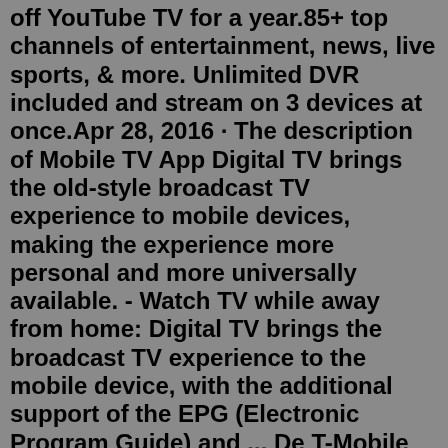off YouTube TV for a year.85+ top channels of entertainment, news, live sports, & more. Unlimited DVR included and stream on 3 devices at once.Apr 28, 2016 · The description of Mobile TV App Digital TV brings the old-style broadcast TV experience to mobile devices, making the experience more personal and more universally available. - Watch TV while away from home: Digital TV brings the broadcast TV experience to the mobile device, with the additional support of the EPG (Electronic Program Guide) and ... De T-Mobile TV app biedt een volwaardig alternatief voor de TV Box van T-Mobile Thuis. Met deze app geniet je van al je favoriete programma's, series en films. Je kunt tot wel zeven dagen terugkijken, opnemen in de cloud en persoonlijke kijkprofielen instellen. De voordelen op een rij. - Live tv-kijken: kijk live tv op wel vier apparaten ... 2 days ago · TV & Home Internet; apps; Question apps. 2 days ago 26 July 2022. 1 reply; 14 views D Dreed9155 First activity; 0 replies ... Login with T-mobile ID 2 days ago · TV & Home Internet; apps; Question apps.